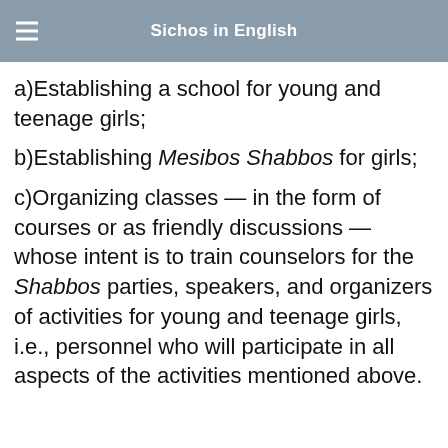Sichos in English
a)Establishing a school for young and teenage girls;
b)Establishing Mesibos Shabbos for girls;
c)Organizing classes — in the form of courses or as friendly discussions — whose intent is to train counselors for the Shabbos parties, speakers, and organizers of activities for young and teenage girls, i.e., personnel who will participate in all aspects of the activities mentioned above.